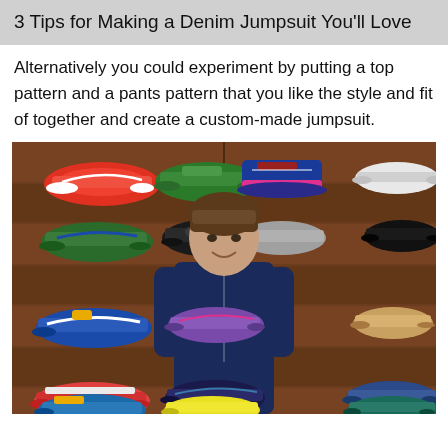3 Tips for Making a Denim Jumpsuit You'll Love
Alternatively you could experiment by putting a top pattern and a pants pattern that you like the style and fit of together and create a custom-made jumpsuit.
[Figure (photo): A woman wearing a dark denim jumpsuit standing in front of a wooden wall display of colorful sneakers in a shoe store.]